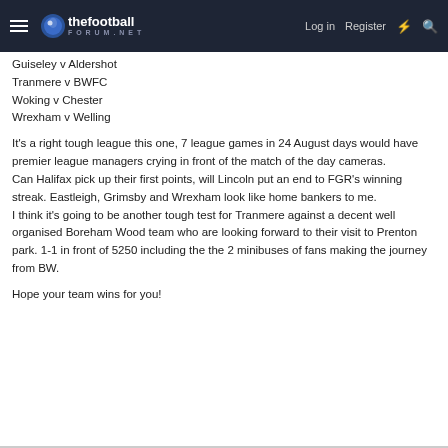thefootball forum.net — Log in | Register
Guiseley v Aldershot
Tranmere v BWFC
Woking v Chester
Wrexham v Welling
It's a right tough league this one, 7 league games in 24 August days would have premier league managers crying in front of the match of the day cameras.
Can Halifax pick up their first points, will Lincoln put an end to FGR's winning streak. Eastleigh, Grimsby and Wrexham look like home bankers to me.
I think it's going to be another tough test for Tranmere against a decent well organised Boreham Wood team who are looking forward to their visit to Prenton park. 1-1 in front of 5250 including the the 2 minibuses of fans making the journey from BW.
Hope your team wins for you!